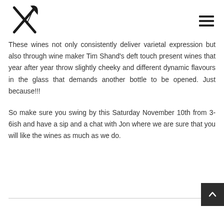[logo] [hamburger menu]
These wines not only consistently deliver varietal expression but also through wine maker Tim Shand’s deft touch present wines that year after year throw slightly cheeky and different dynamic flavours in the glass that demands another bottle to be opened. Just because!!!
So make sure you swing by this Saturday November 10th from 3-6ish and have a sip and a chat with Jon where we are sure that you will like the wines as much as we do.